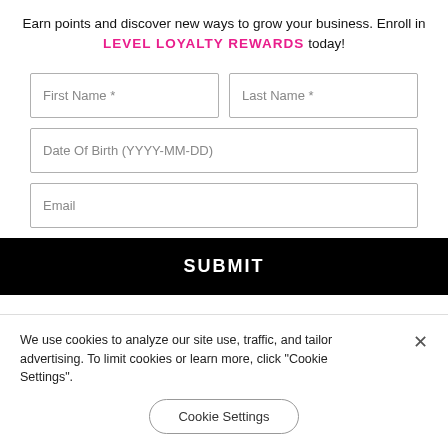Earn points and discover new ways to grow your business. Enroll in LEVEL LOYALTY REWARDS today!
[Figure (screenshot): Web form with fields: First Name*, Last Name*, Date Of Birth (YYYY-MM-DD), Email, and a SUBMIT button]
We use cookies to analyze our site use, traffic, and tailor advertising. To limit cookies or learn more, click "Cookie Settings".
Cookie Settings